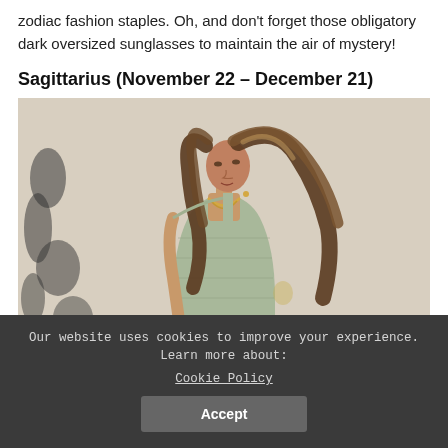zodiac fashion staples. Oh, and don't forget those obligatory dark oversized sunglasses to maintain the air of mystery!
Sagittarius (November 22 – December 21)
[Figure (photo): A woman with long wavy brunette hair wearing a sage green sleeveless knit dress and gold necklace, standing against a textured white wall with plant shadows.]
Our website uses cookies to improve your experience. Learn more about: Cookie Policy
Accept